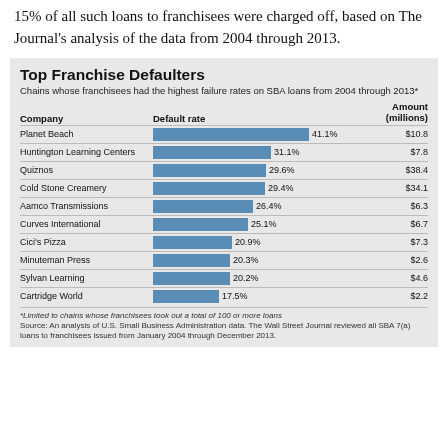15% of all such loans to franchisees were charged off, based on The Journal's analysis of the data from 2004 through 2013.
[Figure (bar-chart): Top Franchise Defaulters]
*Limited to chains whose franchisees took out a total of 100 or more loans
Source: An analysis of U.S. Small Business Administration data. The Wall Street Journal reviewed all SBA 7(a) loans to franchisees issued from January 2004 through December 2013.